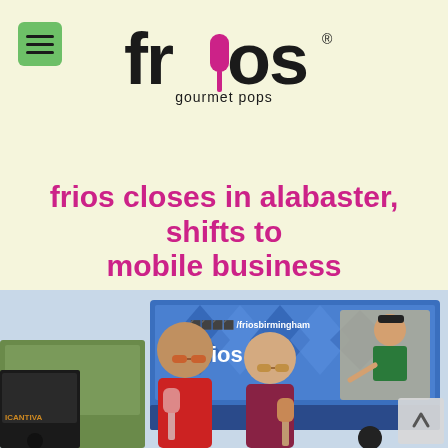frios gourmet pops logo with hamburger menu icon
frios closes in alabaster, shifts to mobile business
[Figure (photo): Two young women holding popsicles and smiling in front of the Frios gourmet pops food truck, with a man in a green Frios shirt pointing from inside the truck window. A second vehicle is visible to the left.]